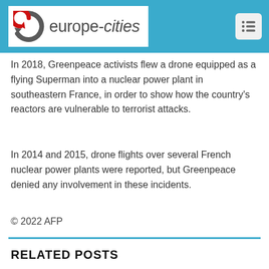europe-cities
In 2018, Greenpeace activists flew a drone equipped as a flying Superman into a nuclear power plant in southeastern France, in order to show how the country's reactors are vulnerable to terrorist attacks.
In 2014 and 2015, drone flights over several French nuclear power plants were reported, but Greenpeace denied any involvement in these incidents.
© 2022 AFP
RELATED POSTS